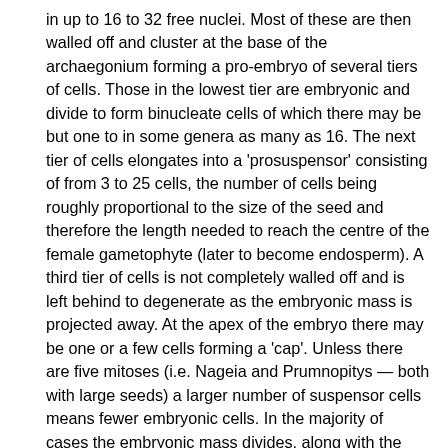in up to 16 to 32 free nuclei. Most of these are then walled off and cluster at the base of the archaegonium forming a pro-embryo of several tiers of cells. Those in the lowest tier are embryonic and divide to form binucleate cells of which there may be but one to in some genera as many as 16. The next tier of cells elongates into a 'prosuspensor' consisting of from 3 to 25 cells, the number of cells being roughly proportional to the size of the seed and therefore the length needed to reach the centre of the female gametophyte (later to become endosperm). A third tier of cells is not completely walled off and is left behind to degenerate as the embryonic mass is projected away. At the apex of the embryo there may be one or a few cells forming a 'cap'. Unless there are five mitoses (i.e. Nageia and Prumnopitys — both with large seeds) a larger number of suspensor cells means fewer embryonic cells. In the majority of cases the embryonic mass divides, along with the secondary suspensor which it generates, into several competing units, the common conifer condition known as cleavage polyembryony. Simple polyembryony resulting from more than one fertilized